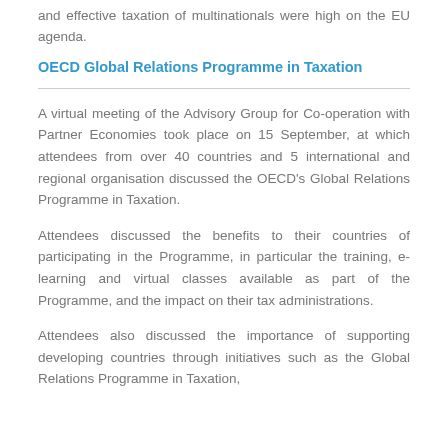and effective taxation of multinationals were high on the EU agenda.
OECD Global Relations Programme in Taxation
A virtual meeting of the Advisory Group for Co-operation with Partner Economies took place on 15 September, at which attendees from over 40 countries and 5 international and regional organisation discussed the OECD's Global Relations Programme in Taxation.
Attendees discussed the benefits to their countries of participating in the Programme, in particular the training, e-learning and virtual classes available as part of the Programme, and the impact on their tax administrations.
Attendees also discussed the importance of supporting developing countries through initiatives such as the Global Relations Programme in Taxation,